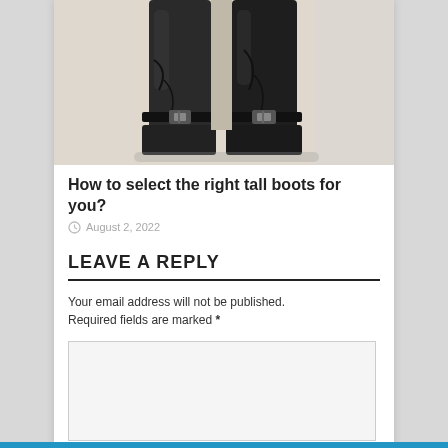[Figure (photo): Close-up photo of tall black leather boots with buckle straps, shot from the knees down against a light background]
How to select the right tall boots for you?
August 2, 2022
LEAVE A REPLY
Your email address will not be published. Required fields are marked *